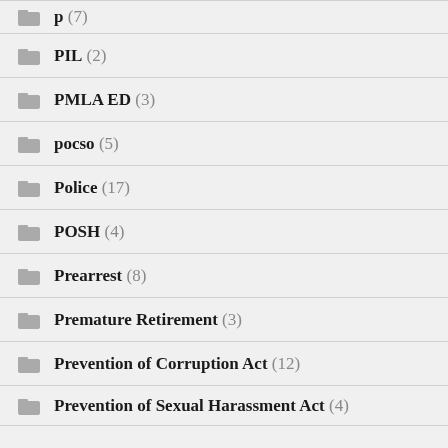PIL (2)
PMLA ED (3)
pocso (5)
Police (17)
POSH (4)
Prearrest (8)
Premature Retirement (3)
Prevention of Corruption Act (12)
Prevention of Sexual Harassment Act (4)